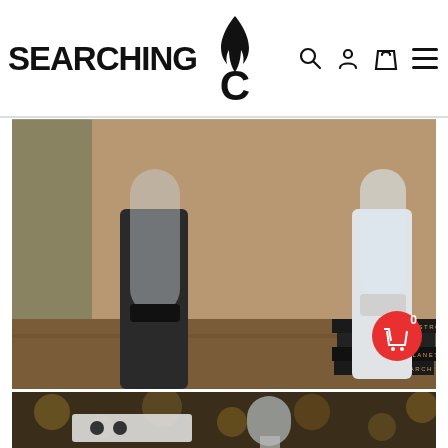[Figure (logo): Searching C logo with flame icon and navigation icons (search, user, cart, menu)]
[Figure (photo): TWYSTR Tornado Diffuser product photo showing black and white base diffusers on a wooden table with astronomy books]
TWYSTR Tornado Diffuser with Black and White Base
[Figure (photo): Second product photo showing a glass dome-shaped product against a dark bokeh background with an audio component visible]